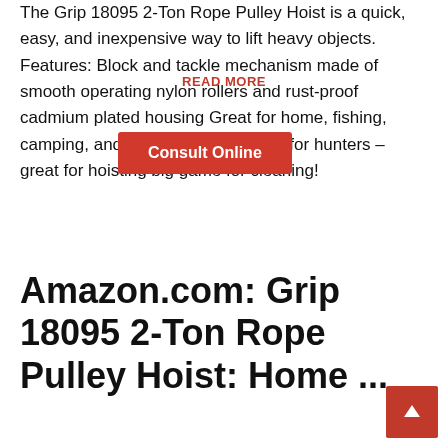The Grip 18095 2-Ton Rope Pulley Hoist is a quick, easy, and inexpensive way to lift heavy objects. Features: Block and tackle mechanism made of smooth operating nylon rollers and rust-proof cadmium plated housing Great for home, fishing, camping, and boating. A must have for hunters – great for hoisting big game for cleaning!
READ MORE
Consult Online
Amazon.com: Grip 18095 2-Ton Rope Pulley Hoist: Home ...
The Grip 18095 2-Ton Rope Pulley Hoist is a quick, easy, and inexpensive way to lift heavy objects. Features: Block and tackle mechanism made of smooth operating nylon rollers and rust-proof cadmium plated housing Great for home, fishing, camping, and boating. A must have for hunters...